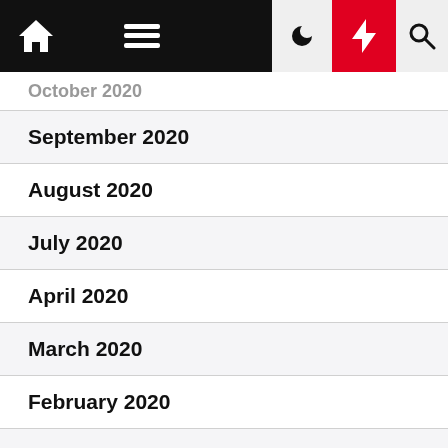Home | Menu | Moon | Bolt | Search
October 2020
September 2020
August 2020
July 2020
April 2020
March 2020
February 2020
January 2020
December 2019
June 2019